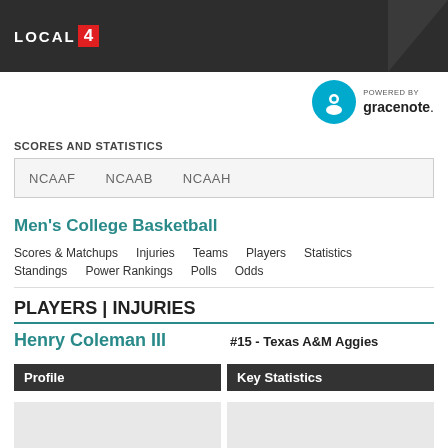LOCAL 4
[Figure (logo): Gracenote logo: blue circle with white G icon, POWERED BY gracenote.]
SCORES AND STATISTICS
NCAAF   NCAAB   NCAAH
Men's College Basketball
Scores & Matchups   Injuries   Teams   Players   Statistics   Standings   Power Rankings   Polls   Odds
PLAYERS | INJURIES
Henry Coleman III
#15 - Texas A&M Aggies
| Profile | Key Statistics |
| --- | --- |
|  |  |